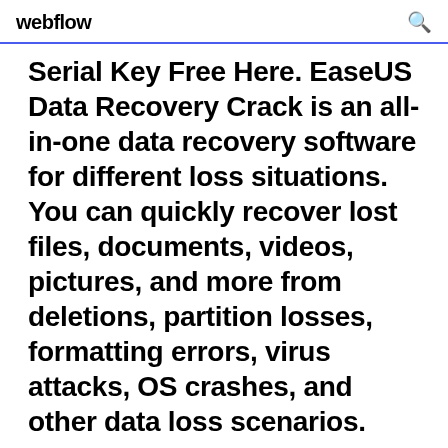webflow
Serial Key Free Here. EaseUS Data Recovery Crack is an all-in-one data recovery software for different loss situations. You can quickly recover lost files, documents, videos, pictures, and more from deletions, partition losses, formatting errors, virus attacks, OS crashes, and other data loss scenarios.
28/04/2020 · EaseUS Data Recovery Wizard 13.3.0 Crack + Serial Key Free Here. EaseUS Data Recovery Crack is an all-in-one data